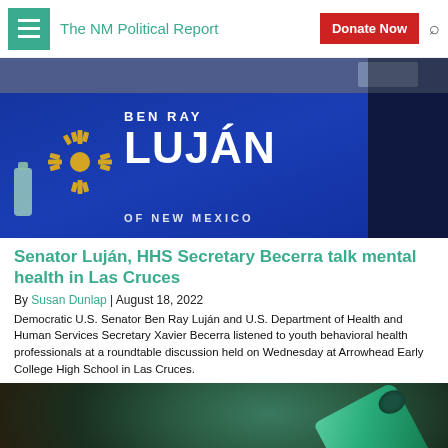The NM Political Report
[Figure (photo): Ben Ray Luján campaign table banner with New Mexico Zia symbol in gold/yellow, blue tablecloth, sanitizer bottle visible on left, partially visible text 'OF NEW MEXICO' at bottom]
Senator Luján, HHS Secretary Becerra talk mental health in Las Cruces
By Susan Dunlap | August 18, 2022
Democratic U.S. Senator Ben Ray Luján and U.S. Department of Health and Human Services Secretary Xavier Becerra listened to youth behavioral health professionals at a roundtable discussion held on Wednesday at Arrowhead Early College High School in Las Cruces.
[Figure (photo): Close-up photo of cannabis buds spilled out of a tipped green container/jar on a wooden surface]